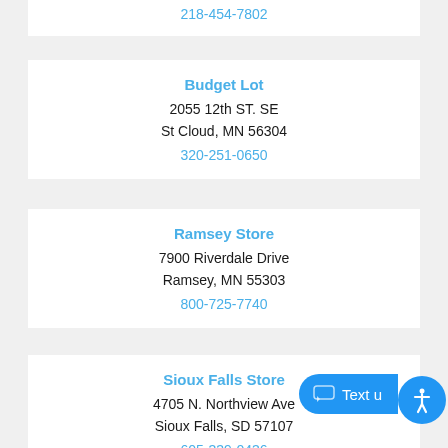218-454-7802
Budget Lot
2055 12th ST. SE
St Cloud, MN 56304
320-251-0650
Ramsey Store
7900 Riverdale Drive
Ramsey, MN 55303
800-725-7740
Sioux Falls Store
4705 N. Northview Ave
Sioux Falls, SD 57107
605-339-0436
Budget Lot
17301 State Hwy 371
Brainerd, MN 56401
800-514-1131